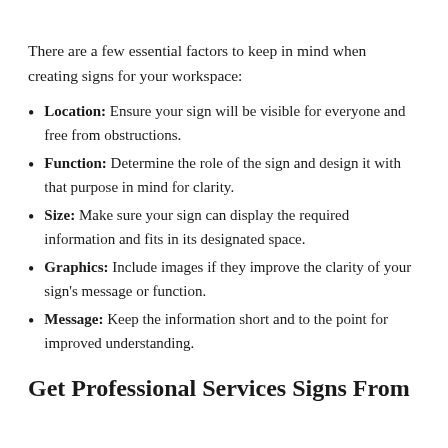There are a few essential factors to keep in mind when creating signs for your workspace:
Location: Ensure your sign will be visible for everyone and free from obstructions.
Function: Determine the role of the sign and design it with that purpose in mind for clarity.
Size: Make sure your sign can display the required information and fits in its designated space.
Graphics: Include images if they improve the clarity of your sign's message or function.
Message: Keep the information short and to the point for improved understanding.
Get Professional Services Signs From